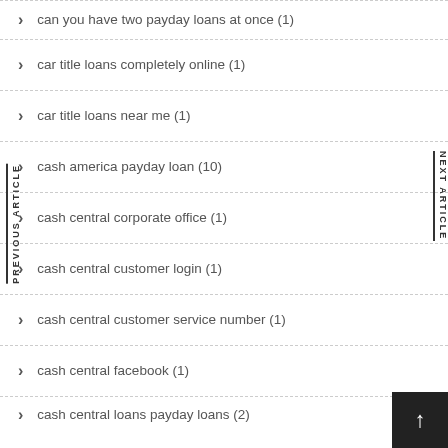can you have two payday loans at once (1)
car title loans completely online (1)
car title loans near me (1)
cash america payday loan (10)
cash central corporate office (1)
cash central customer login (1)
cash central customer service number (1)
cash central facebook (1)
cash central loans payday loans (2)